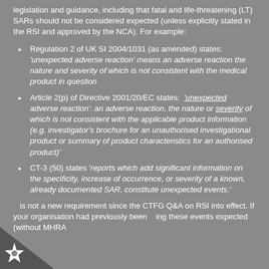legislation and guidance, including that fatal and life-threatening (LT) SARs should not be considered expected (unless explicitly stated in the RSI and approved by the NCA). For example:
Regulation 2 of UK SI 2004/1031 (as amended) states: 'unexpected adverse reaction' means an adverse reaction the nature and severity of which is not consistent with the medical product in question
Article 2(p) of Directive 2001/20/EC states: 'unexpected adverse reaction': an adverse reaction, the nature or severity of which is not consistent with the applicable product information (e.g. investigator's brochure for an unauthorised investigational product or summary of product characteristics for an authorised product)'
CT-3 (50) states 'reports which add significant information on the specificity, increase of occurrence, or severity of a known, already documented SAR, constitute unexpected events.'
is not a new requirement since the CTFG Q&A on RSI into effect. If your organisation had previously been ing these events expected (without MHRA